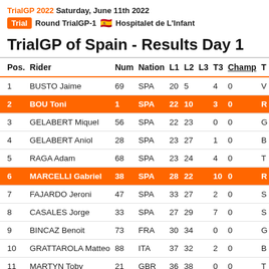TrialGP 2022 Saturday, June 11th 2022
Trial  Round TrialGP-1  Hospitalet de L'Infant
TrialGP of Spain - Results Day 1
| Pos. | Rider | Num | Nation | L1 | L2 | L3 | T3 | Champ | T |
| --- | --- | --- | --- | --- | --- | --- | --- | --- | --- |
| 1 | BUSTO Jaime | 69 | SPA | 20 | 5 |  | 4 | 0 | V |
| 2 | BOU Toni | 1 | SPA | 22 | 10 |  | 3 | 0 | R |
| 3 | GELABERT Miquel | 56 | SPA | 22 | 23 |  | 0 | 0 | G |
| 4 | GELABERT Aniol | 28 | SPA | 23 | 27 |  | 1 | 0 | B |
| 5 | RAGA Adam | 68 | SPA | 23 | 24 |  | 4 | 0 | T |
| 6 | MARCELLI Gabriel | 38 | SPA | 28 | 22 |  | 10 | 0 | R |
| 7 | FAJARDO Jeroni | 47 | SPA | 33 | 27 |  | 2 | 0 | S |
| 8 | CASALES Jorge | 33 | SPA | 27 | 29 |  | 7 | 0 | S |
| 9 | BINCAZ Benoit | 73 | FRA | 30 | 34 |  | 0 | 0 | G |
| 10 | GRATTAROLA Matteo | 88 | ITA | 37 | 32 |  | 2 | 0 | B |
| 11 | MARTYN Toby | 21 | GBR | 36 | 38 |  | 0 | 0 | T |